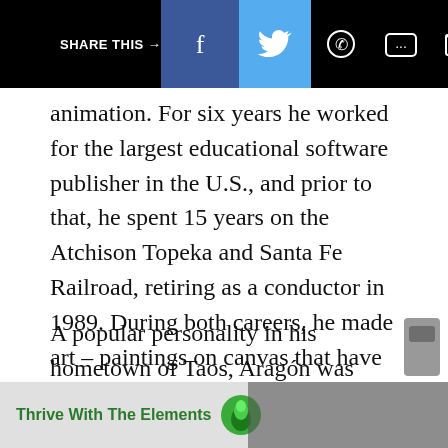SHARE THIS → [Facebook] [Twitter] [WhatsApp] [Message] [Email]
animation. For six years he worked for the largest educational software publisher in the U.S., and prior to that, he spent 15 years on the Atchison Topeka and Santa Fe Railroad, retiring as a conductor in 1989. During both careers, he made art – paintings on canvas that have been exhibited and collected nationally and internationally.
A popular personality in his hometown of Taos, Aragón was awarded the 2008 State of New Mexico Governor's Cup/National Geographic All Roads Film Project grant for an animated film based on one of his original
[Figure (screenshot): Advertisement overlay at bottom of page: 'Thrive With The Elements' with green leaf logo and fireplace image]